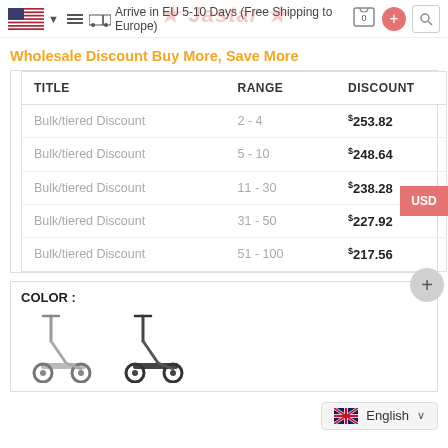Arrive in EU 5-10 Days (Free Shipping to Europe)
Wholesale Discount Buy More, Save More
| TITLE | RANGE | DISCOUNT |
| --- | --- | --- |
| Bulk/tiered Discount | 2 - 4 | $253.82 |
| Bulk/tiered Discount | 5 - 10 | $248.64 |
| Bulk/tiered Discount | 11 - 30 | $238.28 |
| Bulk/tiered Discount | 31 - 50 | $227.92 |
| Bulk/tiered Discount | 51 - 100 | $217.56 |
COLOR :
[Figure (photo): Two electric scooters shown side by side for color selection]
English